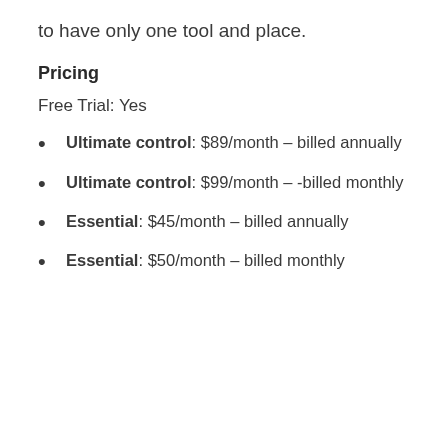to have only one tool and place.
Pricing
Free Trial: Yes
Ultimate control: $89/month – billed annually
Ultimate control: $99/month – -billed monthly
Essential: $45/month – billed annually
Essential: $50/month – billed monthly